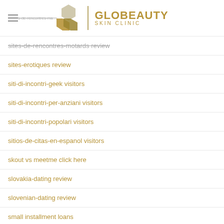Globeauty Skin Clinic
sites-de-rencontres-motards review
sites-erotiques review
siti-di-incontri-geek visitors
siti-di-incontri-per-anziani visitors
siti-di-incontri-popolari visitors
sitios-de-citas-en-espanol visitors
skout vs meetme click here
slovakia-dating review
slovenian-dating review
small installment loans
small online payday loans